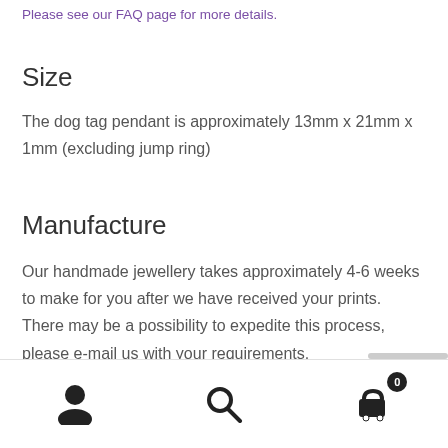Please see our FAQ page for more details.
Size
The dog tag pendant is approximately 13mm x 21mm x 1mm (excluding jump ring)
Manufacture
Our handmade jewellery takes approximately 4-6 weeks to make for you after we have received your prints. There may be a possibility to expedite this process, please e-mail us with your requirements.
Navigation bar with user, search, and cart icons